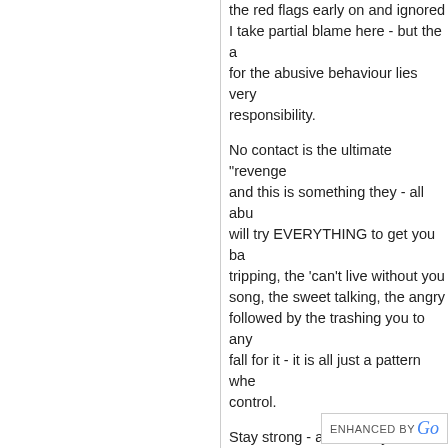the red flags early on and ignored them. I take partial blame here - but the accountability for the abusive behaviour lies very much in their responsibility.
No contact is the ultimate "revenge" and this is something they - all abusers - will try EVERYTHING to get you back. The guilt tripping, the 'can't live without you' song and dance song, the sweet talking, the angry tirades followed by the trashing you to anyone. Don't fall for it - it is all just a pattern where they lose control.
Stay strong - and know you deserve better than you will NEVER get with a narc.
Click here to post comments
Join in and write your own page! It's here to return to Invitation no cont...
Return to Hidden Hurt Home